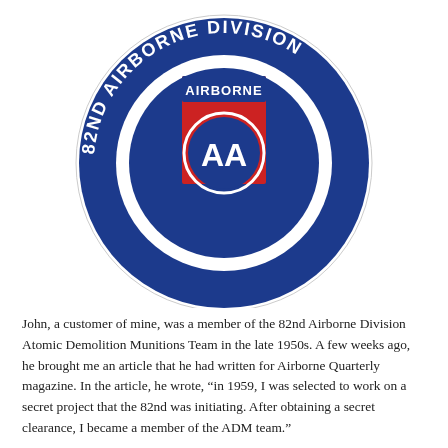[Figure (logo): 82nd Airborne Division insignia/patch: circular blue ring with white text '82ND AIRBORNE DIVISION' around the edge, center shows a red rectangular patch with blue circle containing white 'AA' letters, topped with 'AIRBORNE' tab in blue and white.]
John, a customer of mine, was a member of the 82nd Airborne Division Atomic Demolition Munitions Team in the late 1950s. A few weeks ago, he brought me an article that he had written for Airborne Quarterly magazine. In the article, he wrote, “in 1959, I was selected to work on a secret project that the 82nd was initiating. After obtaining a secret clearance, I became a member of the ADM team.”
In his article, John tells the story of a war game scenario where Special Forces Team members would try to breach the ADM team’s security. “During one of these night drills, the